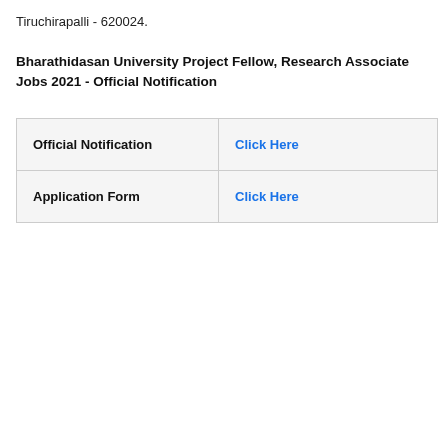Tiruchirapalli - 620024.
Bharathidasan University Project Fellow, Research Associate Jobs 2021 - Official Notification
| Official Notification | Click Here |
| Application Form | Click Here |